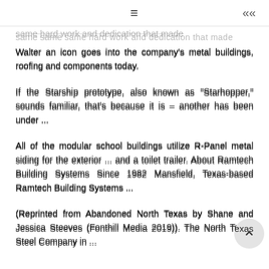≡  «
same hard work and dedication that made Walter an icon goes into the company's metal buildings, roofing and components today.
If the Starship prototype, also known as "Starhopper," sounds familiar, that's because it is – another has been under ...
All of the modular school buildings utilize R-Panel metal siding for the exterior ... and a toilet trailer. About Ramtech Building Systems Since 1982 Mansfield, Texas-based Ramtech Building Systems ...
(Reprinted from Abandoned North Texas by Shane and Jessica Steeves (Fonthill Media 2019)). The North Texas Steel Company in ...